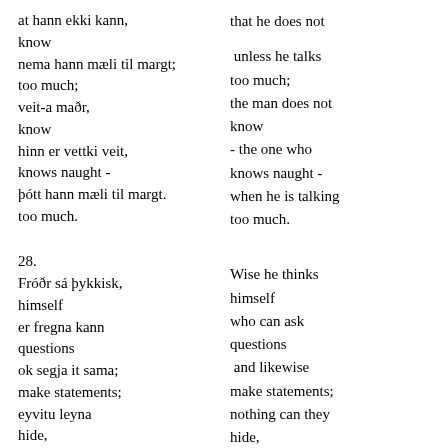at hann ekki kann,
know
nema hann mæli til margt;
too much;
veit-a maðr,
know
hinn er vettki veit,
knows naught -
þótt hann mæli til margt.
too much.
that he does not
unless he talks too much;
the man does not know
- the one who knows naught -
when he is talking too much.
28.
Fróðr sá þykkisk,
himself
er fregna kann
questions
ok segja it sama;
make statements;
eyvitu leyna
hide,
megu ýta synir,
því er gengr um guma.
around about people.
Wise he thinks himself
who can ask questions
and likewise make statements;
nothing can they hide,
the sons of men,
of what goes around about people.
29.